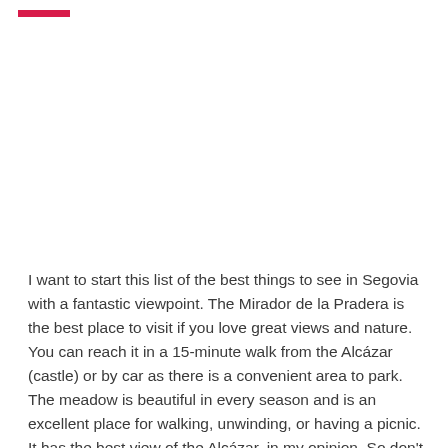I want to start this list of the best things to see in Segovia with a fantastic viewpoint. The Mirador de la Pradera is the best place to visit if you love great views and nature. You can reach it in a 15-minute walk from the Alcázar (castle) or by car as there is a convenient area to park.
The meadow is beautiful in every season and is an excellent place for walking, unwinding, or having a picnic. It has the best view of the Alcázar, in my opinion. So don't miss it if you